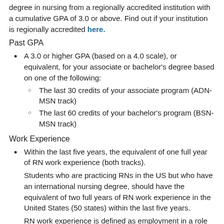degree in nursing from a regionally accredited institution with a cumulative GPA of 3.0 or above. Find out if your institution is regionally accredited here.
Past GPA
A 3.0 or higher GPA (based on a 4.0 scale), or equivalent, for your associate or bachelor's degree based on one of the following:
The last 30 credits of your associate program (ADN-MSN track)
The last 60 credits of your bachelor's program (BSN-MSN track)
Work Experience
Within the last five years, the equivalent of one full year of RN work experience (both tracks).
Students who are practicing RNs in the US but who have an international nursing degree, should have the equivalent of two full years of RN work experience in the United States (50 states) within the last five years.
RN work experience is defined as employment in a role